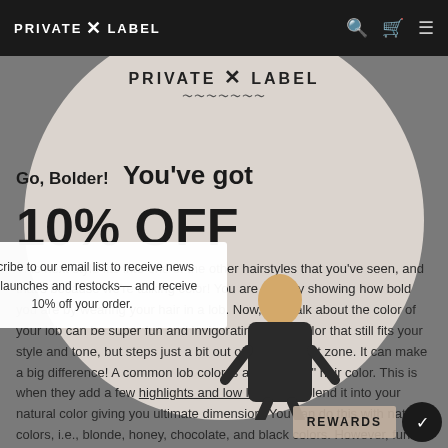PRIVATE X LABEL
[Figure (screenshot): Private Label website screenshot with navigation bar, circular overlay popup offering 10% off email subscription, and article text about hair color/lob styles]
Go, Bolder! You've got
10% OFF
Subscribe to our email list to receive news about launches and restocks— and receive 10% off your order.
This next style fits into one of the other hairstyles that you've seen, and that's because we're talking color! You are already showing how bold you are by wearing your hair in a lob. Now, let's talk about the color of your lob can be super fun and invigorating! Try a color that still fits your style and tone, but steps just a bit out of your comfort zone. It can make a big difference! A common lob color is a "Balayage" hair color. This is when they add a few highlights and low lights and blend it into your natural color giving you ultimate dimension. You can do this with natural colors, i.e., blonde, honey, chocolate, and black colors. However, fun colors can be incorporated too! Like pink, red,... about colored hair! It might just be the best thing you ever
REWARDS